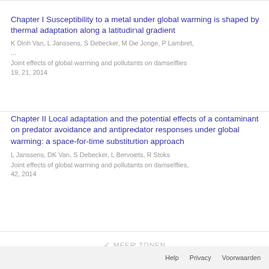Chapter I Susceptibility to a metal under global warming is shaped by thermal adaptation along a latitudinal gradient
K Dinh Van, L Janssens, S Debecker, M De Jonge, P Lambret, ...
Joint effects of global warming and pollutants on damselflies 19, 21, 2014
Chapter II Local adaptation and the potential effects of a contaminant on predator avoidance and antipredator responses under global warming: a space-for-time substitution approach
L Janssens, DK Van, S Debecker, L Bervoets, R Stoks
Joint effects of global warming and pollutants on damselflies, 42, 2014
MEER TONEN
Help   Privacy   Voorwaarden